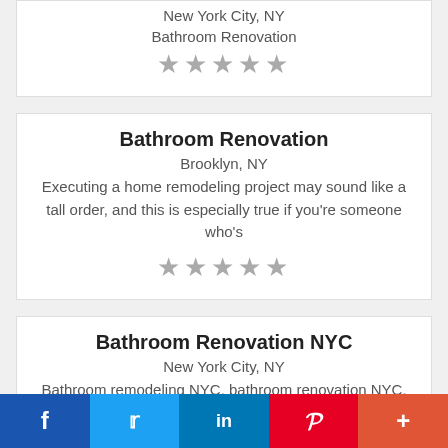New York City, NY
Bathroom Renovation
★★★★★
Bathroom Renovation
Brooklyn, NY
Executing a home remodeling project may sound like a tall order, and this is especially true if you're someone who's
★★★★★
Bathroom Renovation NYC
New York City, NY
Bathroom remodeling NYC, bathroom renovation NYC, bathroom remodeler, best bathroom remodeler near me, best
★★★★★
f  Twitter  in  P  +